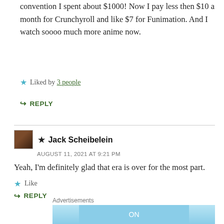convention I spent about $1000! Now I pay less then $10 a month for Crunchyroll and like $7 for Funimation. And I watch soooo much more anime now.
★ Liked by 3 people
↪ REPLY
★ Jack Scheibelein
AUGUST 11, 2021 AT 9:21 PM
Yeah, I'm definitely glad that era is over for the most part.
★ Like
↪ REPLY
Advertisements